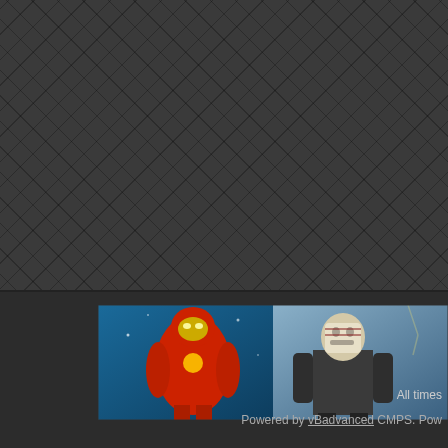[Figure (screenshot): Dark diamond-pattern textured background occupying the upper portion of the page]
[Figure (photo): Banner image showing Iron Man (red and gold armor) on the left against a blue background, and Jason Voorhees (hockey mask, dark jacket) on the right against a stormy background]
All times
Powered by vBadvanced CMPS. Pow